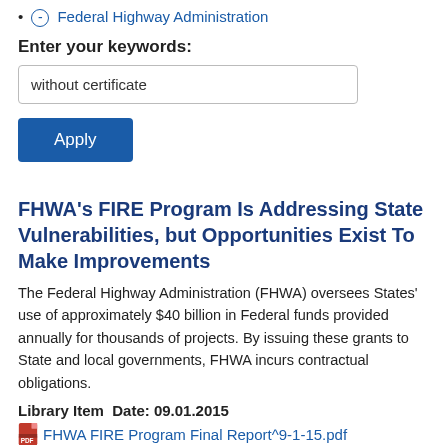(-) Federal Highway Administration
Enter your keywords:
without certificate
Apply
FHWA's FIRE Program Is Addressing State Vulnerabilities, but Opportunities Exist To Make Improvements
The Federal Highway Administration (FHWA) oversees States' use of approximately $40 billion in Federal funds provided annually for thousands of projects. By issuing these grants to State and local governments, FHWA incurs contractual obligations.
Library Item   Date: 09.01.2015
FHWA FIRE Program Final Report^9-1-15.pdf